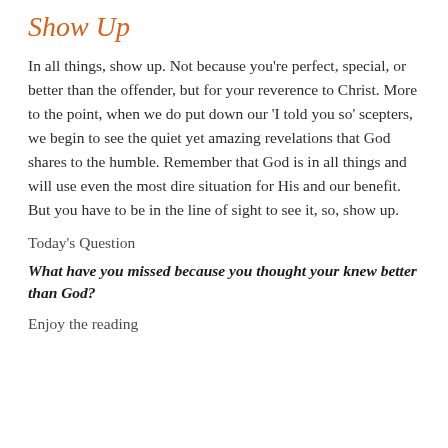Show Up
In all things, show up. Not because you're perfect, special, or better than the offender, but for your reverence to Christ. More to the point, when we do put down our 'I told you so' scepters, we begin to see the quiet yet amazing revelations that God shares to the humble. Remember that God is in all things and will use even the most dire situation for His and our benefit. But you have to be in the line of sight to see it, so, show up.
Today's Question
What have you missed because you thought your knew better than God?
Enjoy the reading